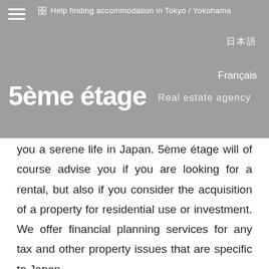Help finding accommodation in Tokyo / Yokohama
日本語
Français
5ème étage  Real estate agency
you a serene life in Japan. 5ème étage will of course advise you if you are looking for a rental, but also if you consider the acquisition of a property for residential use or investment. We offer financial planning services for any tax and other property issues that are specific to Japan.
Each property is unique. Inside the same building, between two properties with identical structure or two adjoining apartments, everything will be different if the location is not exactly the same: the sunshine, the perception of noise, the passage of the wind ...